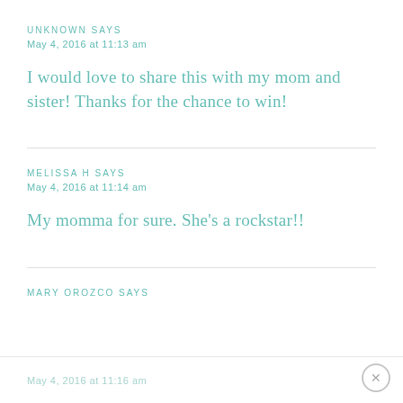UNKNOWN SAYS
May 4, 2016 at 11:13 am
I would love to share this with my mom and sister! Thanks for the chance to win!
MELISSA H SAYS
May 4, 2016 at 11:14 am
My momma for sure. She's a rockstar!!
MARY OROZCO SAYS
May 4, 2016 at 11:16 am